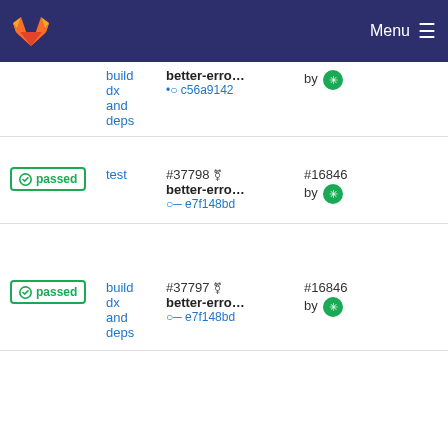GitLab — Menu
build dx and deps — better-erro... — c56a9142
passed — test — #37798 — better-erro... — e7f148bd — #16846 by
passed — build dx and deps — #37797 — better-erro... — e7f148bd — #16846 by
passed — test — #37598 — coq-8.13 — 0a080995 — #16793 by
passed — build dx and deps — #37597 — coq-8.13 — 0a080995 — #16793 by